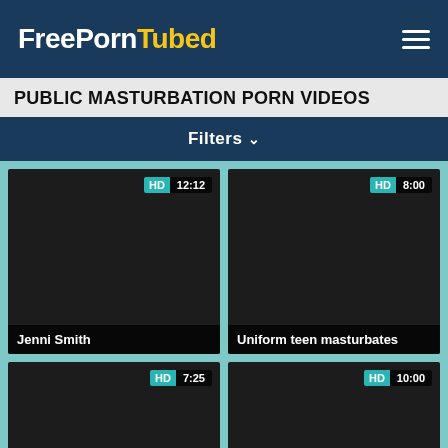FreePornTubed
PUBLIC MASTURBATION PORN VIDEOS
Filters
[Figure (screenshot): Dark video thumbnail, HD badge, duration 12:12, title: Jenni Smith]
[Figure (screenshot): Dark video thumbnail, HD badge, duration 8:00, title: Uniform teen masturbates]
[Figure (screenshot): Dark video thumbnail, HD badge, duration 7:25, no title visible]
[Figure (screenshot): Dark video thumbnail, HD badge, duration 10:00, no title visible]